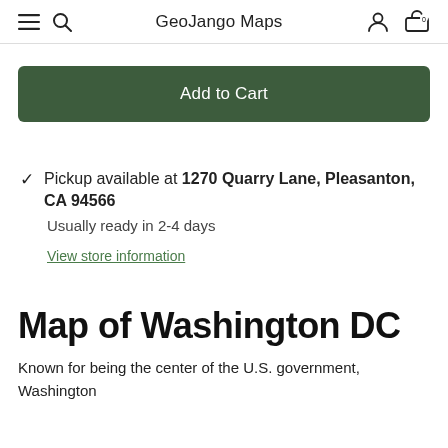GeoJango Maps
Add to Cart
Pickup available at 1270 Quarry Lane, Pleasanton, CA 94566
Usually ready in 2-4 days
View store information
Map of Washington DC
Known for being the center of the U.S. government, Washington